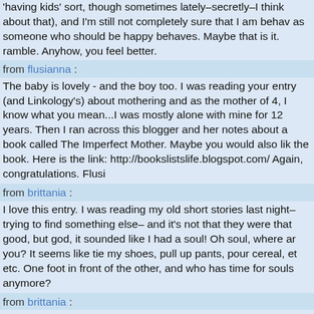'having kids' sort, though sometimes lately–secretly–I think about that), and I'm still not completely sure that I am behaving as someone who should be happy behaves. Maybe that is it. ramble. Anyhow, you feel better.
from flusianna :
The baby is lovely - and the boy too. I was reading your entry (and Linkology's) about mothering and as the mother of 4, I know what you mean...I was mostly alone with mine for 12 years. Then I ran across this blogger and her notes about a book called The Imperfect Mother. Maybe you would also like the book. Here is the link: http://bookslistslife.blogspot.com/ Again, congratulations. Flusi
from brittania :
I love this entry. I was reading my old short stories last night–trying to find something else– and it's not that they were that good, but god, it sounded like I had a soul! Oh soul, where are you? It seems like tie my shoes, pull up pants, pour cereal, etc etc. One foot in front of the other, and who has time for souls anymore?
from brittania :
But I love you and especially too small messy houses. I make excuses for mine, too, like it's any different any other day of the week. XXOO.
from brittania :